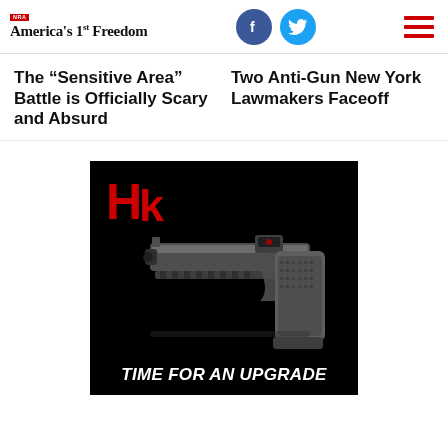NRA America's 1st Freedom
The “Sensitive Area” Battle is Officially Scary and Absurd
Two Anti-Gun New York Lawmakers Faceoff
[Figure (photo): HK advertisement showing a pistol with red dot sight on black background with text TIME FOR AN UPGRADE and HK logo in red]